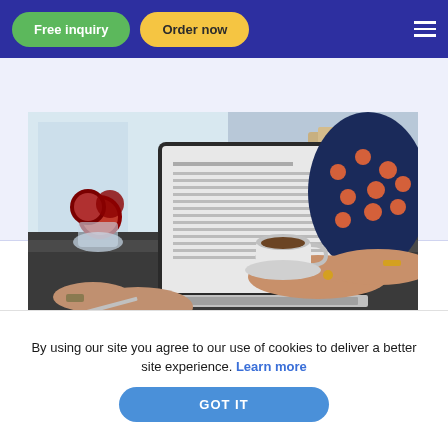Free inquiry | Order now
p
[Figure (photo): Person typing on a laptop at a desk with roses in a vase, a coffee cup, and another person writing on paper nearby. The laptop screen shows a text document.]
What are some top Harvard
By using our site you agree to our use of cookies to deliver a better site experience. Learn more
GOT IT